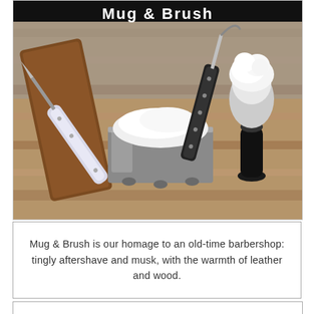Mug & Brush
[Figure (photo): A straight razor with pearl handle, a silver shaving mug filled with white shaving cream, and a black shaving brush with white foam on top, arranged on a wooden surface.]
Mug & Brush is our homage to an old-time barbershop: tingly aftershave and musk, with the warmth of leather and wood.